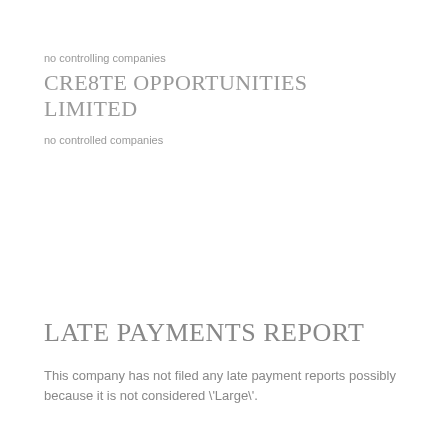no controlling companies
CRE8TE OPPORTUNITIES LIMITED
no controlled companies
LATE PAYMENTS REPORT
This company has not filed any late payment reports possibly because it is not considered \'Large\'.